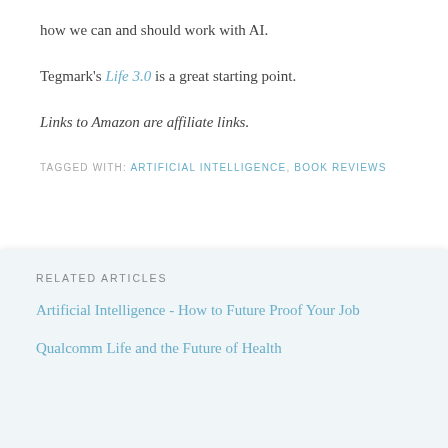how we can and should work with AI.
Tegmark's Life 3.0 is a great starting point.
Links to Amazon are affiliate links.
TAGGED WITH: ARTIFICIAL INTELLIGENCE, BOOK REVIEWS
RELATED ARTICLES
Artificial Intelligence - How to Future Proof Your Job
Qualcomm Life and the Future of Health